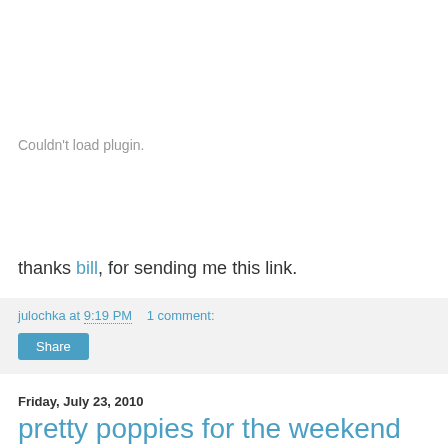[Figure (other): Plugin placeholder area showing 'Couldn't load plugin.' message in gray text]
thanks bill, for sending me this link.
julochka at 9:19 PM    1 comment:
Share
Friday, July 23, 2010
pretty poppies for the weekend